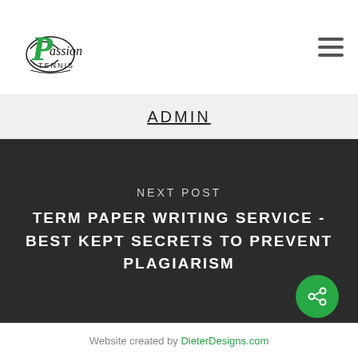[Figure (logo): Passion Tennis logo with stylized green and black text]
ADMIN
NEXT POST
TERM PAPER WRITING SERVICE - BEST KEPT SECRETS TO PREVENT PLAGIARISM
Website created by DieterDesigns.com